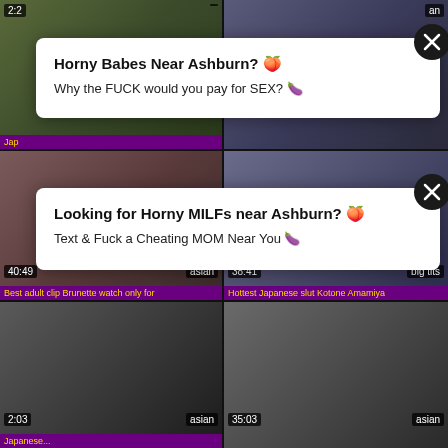[Figure (screenshot): Video thumbnail grid of adult content website with 6 video thumbnails arranged in 2 columns and 3 rows, showing duration labels and category tags, with two advertisement overlays]
Horny Babes Near Ashburn? Why the FUCK would you pay for SEX?
Looking for Horny MILFs near Ashburn? Text & Fuck a Cheating MOM Near You
Best adult clip Brunette watch only for
Hottest Japanese slut Kotone Amamiya